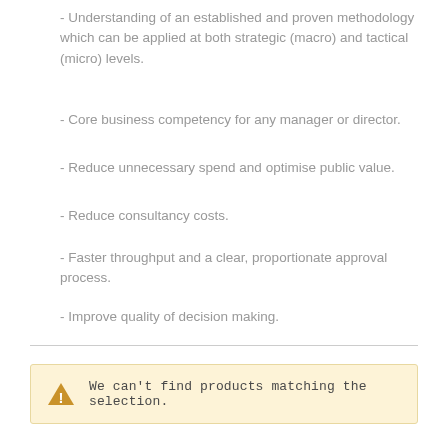- Understanding of an established and proven methodology which can be applied at both strategic (macro) and tactical (micro) levels.
- Core business competency for any manager or director.
- Reduce unnecessary spend and optimise public value.
- Reduce consultancy costs.
- Faster throughput and a clear, proportionate approval process.
- Improve quality of decision making.
We can't find products matching the selection.